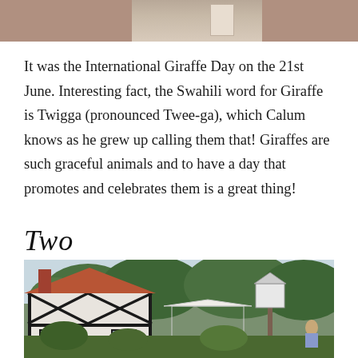[Figure (photo): Top portion of a photo showing a building exterior with brick walls, a pale wall section, and what appears to be a doorway or window in the center.]
It was the International Giraffe Day on the 21st June. Interesting fact, the Swahili word for Giraffe is Twigga (pronounced Twee-ga), which Calum knows as he grew up calling them that! Giraffes are such graceful animals and to have a day that promotes and celebrates them is a great thing!
Two
[Figure (photo): A garden scene showing a white Tudor-style cottage with black timber framing, a red tile roof, surrounded by lush green trees and garden plants. In the foreground there is a white decorative bird house on a tall post, and a white gazebo/canopy in the middle background. A person can be seen seated on the right side.]